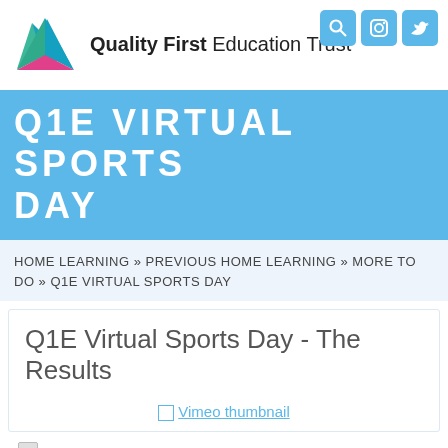Quality First Education Trust
Q1E VIRTUAL SPORTS DAY
HOME LEARNING » PREVIOUS HOME LEARNING » MORE TO DO » Q1E VIRTUAL SPORTS DAY
Q1E Virtual Sports Day - The Results
[Figure (screenshot): Vimeo thumbnail image link]